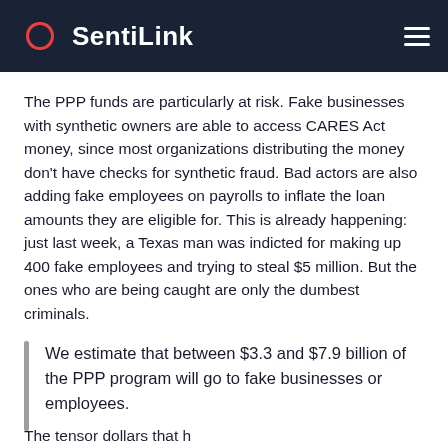SentiLink
The PPP funds are particularly at risk. Fake businesses with synthetic owners are able to access CARES Act money, since most organizations distributing the money don't have checks for synthetic fraud. Bad actors are also adding fake employees on payrolls to inflate the loan amounts they are eligible for. This is already happening: just last week, a Texas man was indicted for making up 400 fake employees and trying to steal $5 million. But the ones who are being caught are only the dumbest criminals.
We estimate that between $3.3 and $7.9 billion of the PPP program will go to fake businesses or employees.
The tensor dollars that have been potentially stolen should